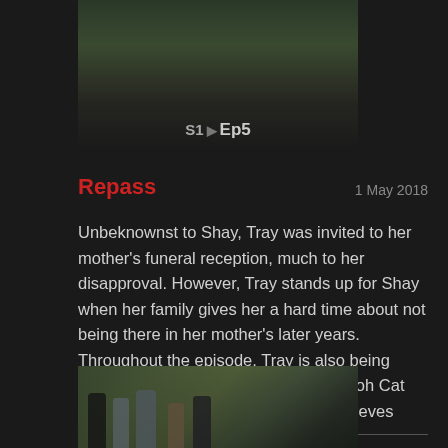[Figure (photo): Screenshot from a TV show episode with a person standing near plants on a balcony or terrace. Episode label S1 Ep5 shown at bottom.]
Repass
1 May 2018
Unbeknownst to Shay, Tray was invited to her mother's funeral reception, much to her disapproval. However, Tray stands up for Shay when her family gives her a hard time about not being there in her mother's later years. Throughout the episode, Tray is also being tracked by his former prison flame, Pooh Cat (guest starring Chrissy Metz), who believes Tray owes her one night of passion.
[Figure (photo): Screenshot from a TV show episode showing a group of people outdoors among greenery, including several characters talking and interacting.]